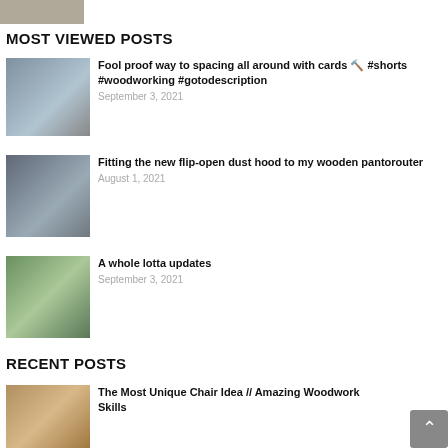[Figure (photo): Top partial thumbnail image cropped at top of page]
MOST VIEWED POSTS
[Figure (photo): Hands using playing cards for spacing on wood panel]
Fool proof way to spacing all around with cards 🔧 #shorts #woodworking #gotodescription
September 3, 2021
[Figure (photo): Close up of wooden pantorouter machine with dust hood]
Fitting the new flip-open dust hood to my wooden pantorouter
August 1, 2021
[Figure (photo): Man's face with workshop in background]
A whole lotta updates
September 3, 2021
RECENT POSTS
[Figure (photo): Stack of wooden planks or blocks]
The Most Unique Chair Idea // Amazing Woodwork Skills